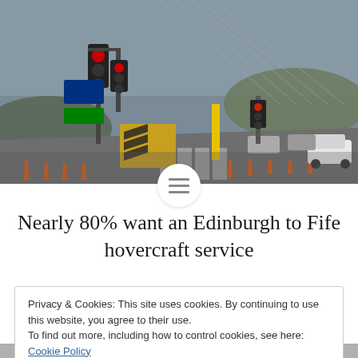[Figure (photo): Road junction near a bridge approach with traffic lights, orange cones, road signs, and cars. A yellow-and-black chevron barrier is visible. Overcast sky.]
Nearly 80% want an Edinburgh to Fife hovercraft service
Privacy & Cookies: This site uses cookies. By continuing to use this website, you agree to their use.
To find out more, including how to control cookies, see here: Cookie Policy
Close and accept